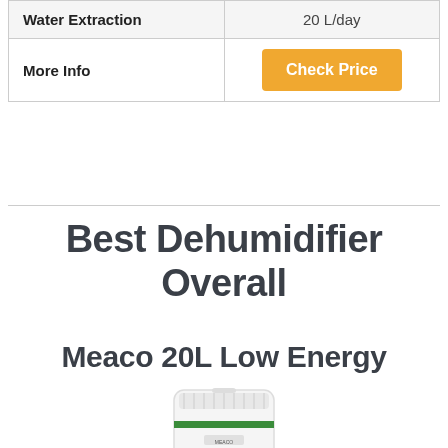| Water Extraction | 20 L/day |
| More Info | Check Price |
Best Dehumidifier Overall
Meaco 20L Low Energy
[Figure (photo): White dehumidifier unit with green accent band (Meaco brand), shown from front slightly angled, partially cropped at bottom]